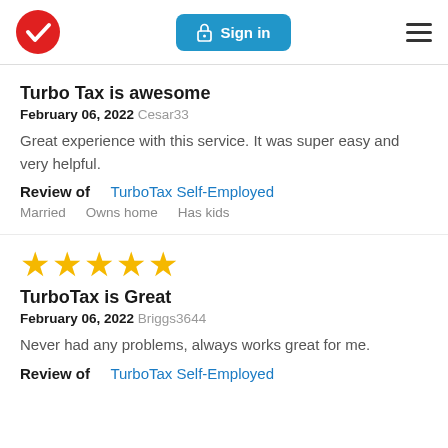[Figure (logo): TurboTax red circle with white checkmark logo and Sign in button with hamburger menu]
Turbo Tax is awesome
February 06, 2022 Cesar33
Great experience with this service. It was super easy and very helpful.
Review of TurboTax Self-Employed
Married Owns home Has kids
[Figure (other): 5 yellow stars rating]
TurboTax is Great
February 06, 2022 Briggs3644
Never had any problems, always works great for me.
Review of TurboTax Self-Employed